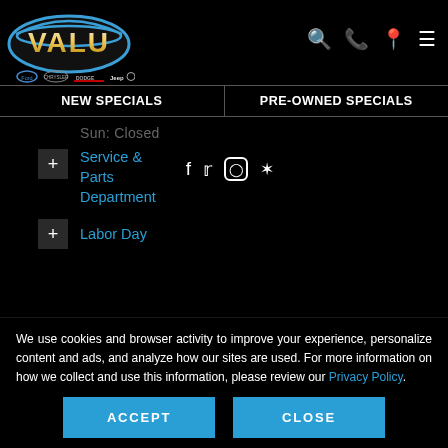[Figure (logo): VALU dealership logo with Ford, Chrysler, Dodge, Jeep brand logos below]
| NEW SPECIALS | PRE-OWNED SPECIALS |
| --- | --- |
Sun: Closed
+ Service & Parts Department
+ Labor Day
We use cookies and browser activity to improve your experience, personalize content and ads, and analyze how our sites are used. For more information on how we collect and use this information, please review our Privacy Policy.
ACCEPT
CLOSE